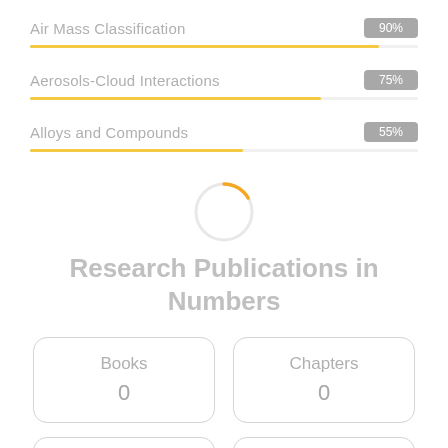[Figure (bar-chart): Progress bars: Air Mass Classification 90%, Aerosols-Cloud Interactions 75%, Alloys and Compounds 55%]
[Figure (other): Circular spinner/loading indicator, orange arc on grey circle]
Research Publications in Numbers
Books 0
Chapters 0